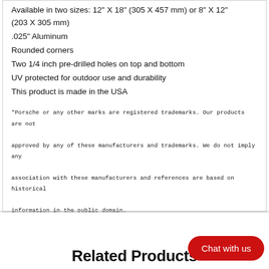Available in two sizes: 12" X 18" (305 X 457 mm) or 8" X 12" (203 X 305 mm)
.025" Aluminum
Rounded corners
Two 1/4 inch pre-drilled holes on top and bottom
UV protected for outdoor use and durability
This product is made in the USA
*Porsche or any other marks are registered trademarks. Our products are not approved by any of these manufacturers and trademarks. We do not imply any association with these manufacturers and references are based on historical information in the public domain.
Related Products